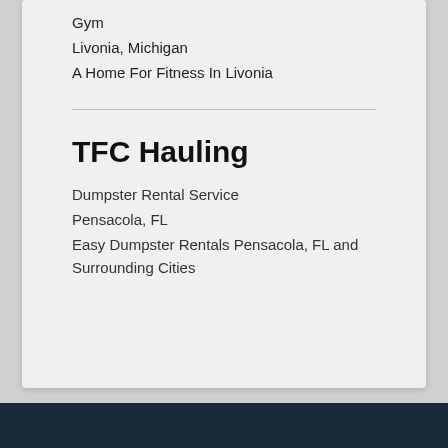Gym
Livonia, Michigan
A Home For Fitness In Livonia
TFC Hauling
Dumpster Rental Service
Pensacola, FL
Easy Dumpster Rentals Pensacola, FL and Surrounding Cities